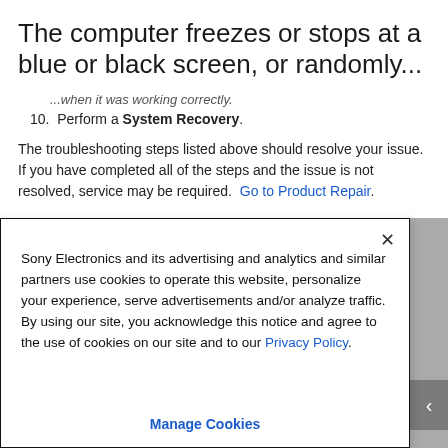The computer freezes or stops at a blue or black screen, or randomly...
...when it was working correctly.
10. Perform a System Recovery.
The troubleshooting steps listed above should resolve your issue. If you have completed all of the steps and the issue is not resolved, service may be required. Go to Product Repair.
Sony Electronics and its advertising and analytics and similar partners use cookies to operate this website, personalize your experience, serve advertisements and/or analyze traffic. By using our site, you acknowledge this notice and agree to the use of cookies on our site and to our Privacy Policy.
Manage Cookies